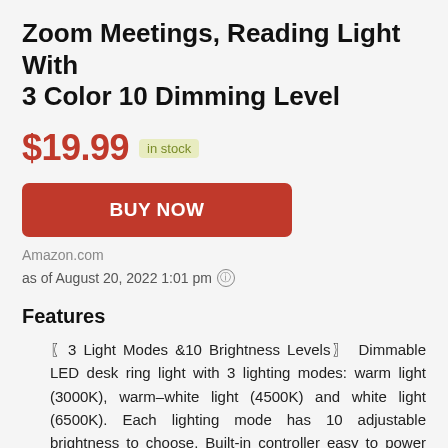Zoom Meetings, Reading Light With 3 Color 10 Dimming Level
$19.99  in stock
BUY NOW
Amazon.com
as of August 20, 2022 1:01 pm
Features
〖3 Light Modes &10 Brightness Levels〗 Dimmable LED desk ring light with 3 lighting modes: warm light (3000K), warm–white light (4500K) and white light (6500K). Each lighting mode has 10 adjustable brightness to choose. Built-in controller easy to power on/off and switch to the lighting mode to fit